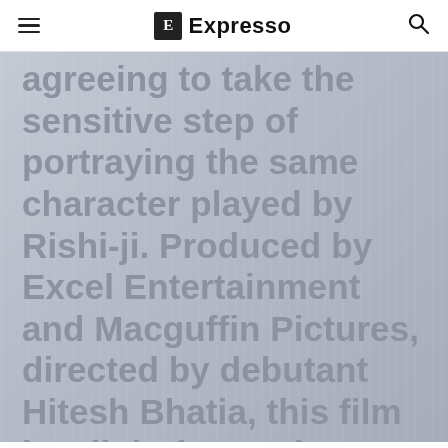Expresso
[Figure (screenshot): Screenshot of an article page showing large bold text overlaid on a textured grey background. The visible text reads: '…agreeing to take the sensitive step of portraying the same character played by Rishi-ji. Produced by Excel Entertainment and Macguffin Pictures, directed by debutant Hitesh Bhatia, this film is a light-hearted coming-of-…']
agreeing to take the sensitive step of portraying the same character played by Rishi-ji. Produced by Excel Entertainment and Macguffin Pictures, directed by debutant Hitesh Bhatia, this film is a light-hearted coming-of-